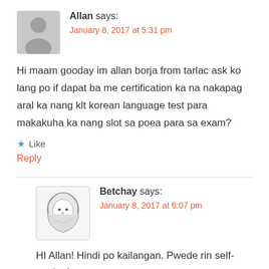[Figure (illustration): Gray placeholder avatar silhouette icon]
Allan says:
January 8, 2017 at 5:31 pm
Hi maam gooday im allan borja from tarlac ask ko lang po if dapat ba me certification ka na nakapag aral ka nang klt korean language test para makakuha ka nang slot sa poea para sa exam?
★ Like
Reply
[Figure (illustration): Sketch-style avatar illustration of Betchay wearing hijab]
Betchay says:
January 8, 2017 at 6:07 pm
HI Allan! Hindi po kailangan. Pwede rin self-study. Ang